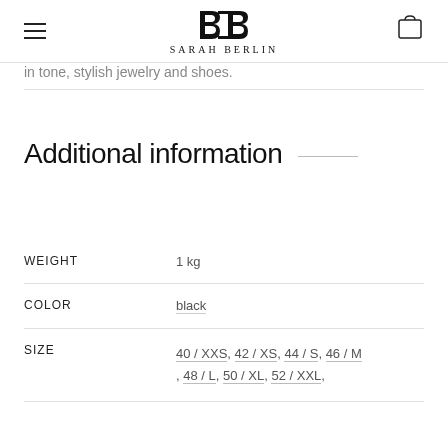Sarah Berlin
in tone, stylish jewelry and shoes.
Additional information
|  |  |
| --- | --- |
| WEIGHT | 1 kg |
| COLOR | black |
| SIZE | 40 / XXS, 42 / XS, 44 / S, 46 / M, 48 / L, 50 / XL, 52 / XXL, |